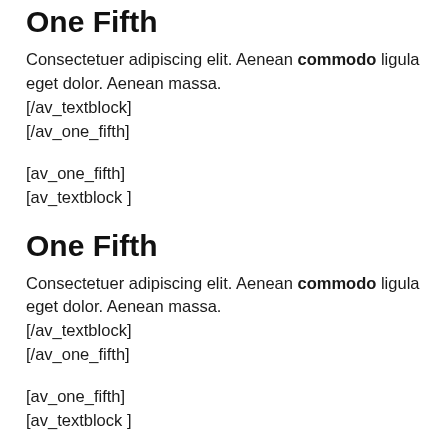One Fifth
Consectetuer adipiscing elit. Aenean commodo ligula eget dolor. Aenean massa.
[/av_textblock]
[/av_one_fifth]
[av_one_fifth]
[av_textblock ]
One Fifth
Consectetuer adipiscing elit. Aenean commodo ligula eget dolor. Aenean massa.
[/av_textblock]
[/av_one_fifth]
[av_one_fifth]
[av_textblock ]
One Fifth